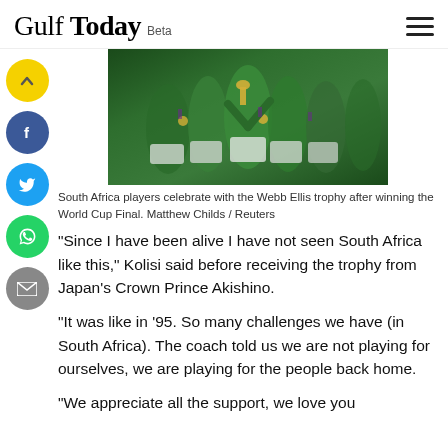Gulf Today Beta
[Figure (photo): South Africa rugby players celebrating with the Webb Ellis trophy after winning the Rugby World Cup Final, wearing green jerseys with gold medals]
South Africa players celebrate with the Webb Ellis trophy after winning the World Cup Final. Matthew Childs / Reuters
"Since I have been alive I have not seen South Africa like this," Kolisi said before receiving the trophy from Japan's Crown Prince Akishino.
"It was like in '95. So many challenges we have (in South Africa). The coach told us we are not playing for ourselves, we are playing for the people back home.
"We appreciate all the support, we love you